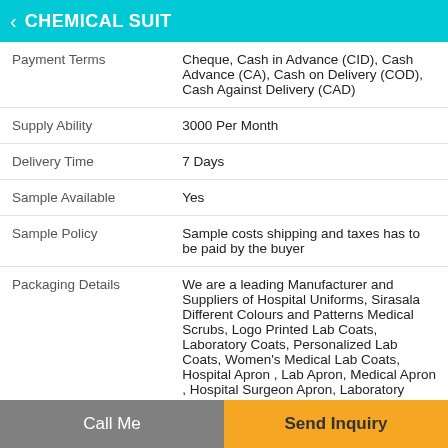CHEMICAL SUIT
| Payment Terms | Cheque, Cash in Advance (CID), Cash Advance (CA), Cash on Delivery (COD), Cash Against Delivery (CAD) |
| Supply Ability | 3000 Per Month |
| Delivery Time | 7 Days |
| Sample Available | Yes |
| Sample Policy | Sample costs shipping and taxes has to be paid by the buyer |
| Packaging Details | We are a leading Manufacturer and Suppliers of Hospital Uniforms, Sirasala Different Colours and Patterns Medical Scrubs, Logo Printed Lab Coats, Laboratory Coats, Personalized Lab Coats, Women's Medical Lab Coats, Hospital Apron , Lab Apron, Medical Apron , Hospital Surgeon Apron, Laboratory... |
Call Me   Send Inquiry